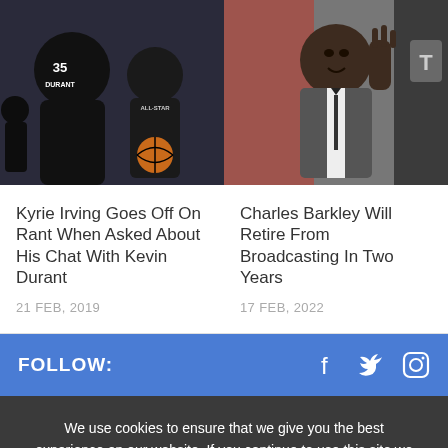[Figure (photo): Two basketball players in All-Star jerseys on a court, one wearing number 35 Durant jersey]
[Figure (photo): Charles Barkley gesturing with his hand raised in a TV studio]
Kyrie Irving Goes Off On Rant When Asked About His Chat With Kevin Durant
21 FEB, 2019
Charles Barkley Will Retire From Broadcasting In Two Years
17 FEB, 2022
FOLLOW:
We use cookies to ensure that we give you the best experience on our website. If you continue to use this site we will assume that you are happy with it.